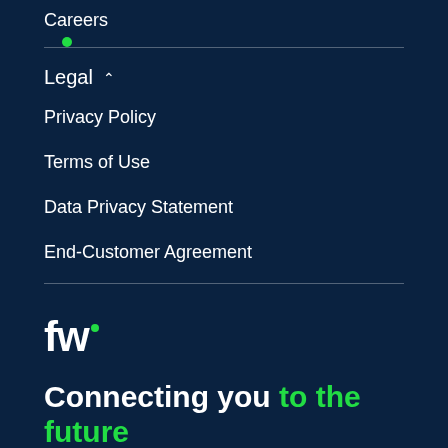Careers
• (green dot indicator)
Legal ^
Privacy Policy
Terms of Use
Data Privacy Statement
End-Customer Agreement
[Figure (logo): fw logo with green dot above the w]
Connecting you to the future